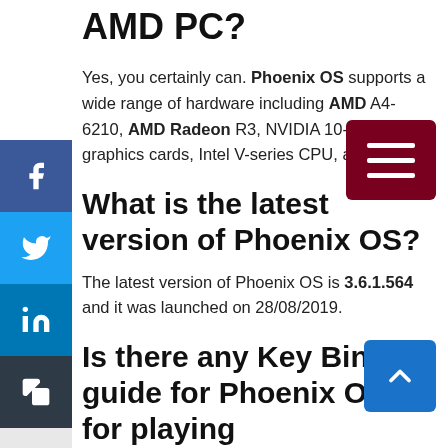AMD PC?
Yes, you certainly can. Phoenix OS supports a wide range of hardware including AMD A4-6210, AMD Radeon R3, NVIDIA 10-series graphics cards, Intel V-series CPU, and so on.
What is the latest version of Phoenix OS?
The latest version of Phoenix OS is 3.6.1.564 and it was launched on 28/08/2019.
Is there any Key Binding guide for Phoenix OS for playing